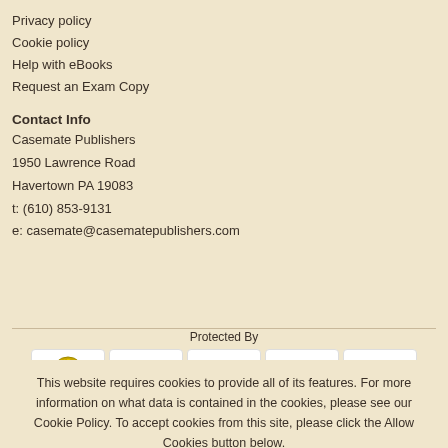Privacy policy
Cookie policy
Help with eBooks
Request an Exam Copy
Contact Info
Casemate Publishers
1950 Lawrence Road
Havertown PA 19083
t: (610) 853-9131
e: casemate@casematepublishers.com
[Figure (logo): Payment method logos: RIFIS badge, Visa, Mastercard, American Express, and one more card logo. Protected By label above.]
This website requires cookies to provide all of its features. For more information on what data is contained in the cookies, please see our Cookie Policy. To accept cookies from this site, please click the Allow Cookies button below.